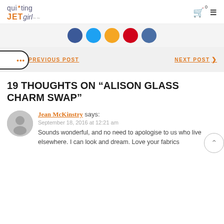quilting JETgirl logo with cart and menu icons
[Figure (illustration): Row of 5 social media circles: dark blue (Facebook), light blue (Twitter), orange (Pinterest/RSS), red, dark blue]
PREVIOUS POST   NEXT POST >
19 THOUGHTS ON “ALISON GLASS CHARM SWAP”
Jean McKinstry says:
September 18, 2016 at 12:21 am
Sounds wonderful, and no need to apologise to us who live elsewhere. I can look and dream. Love your fabrics